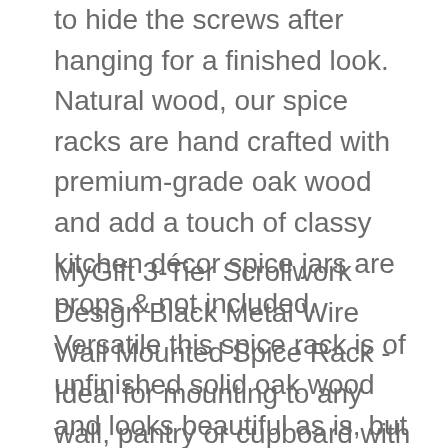to hide the screws after hanging for a finished look. Natural wood, our spice racks are hand crafted with premium-grade oak wood and add a touch of classy kitchen décor spice jars are props & not included. Versatile this spice rack is of unfinished solid oak wood and looks beautiful as is, but is ready for you to stain or paint if you prefer.
MyGift 3-Tier Scrollwork Design Black Metal Wire Wall Mounted Spice Rack - Ideal for mounting to any wall, pantry or cupboard with proper mounting hardware (mounting hardware not included). Wall mounted decorative black scrollwork design metal wire storage rack great for keeping spice jars and condiments conveniently on hand in your kitchen. Specs 120 w x 275 d x 145 h (in inches). Each shelf can accommodate most